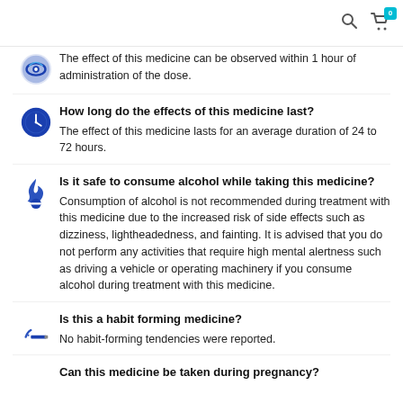Search | Cart (0)
The effect of this medicine can be observed within 1 hour of administration of the dose.
How long do the effects of this medicine last?
The effect of this medicine lasts for an average duration of 24 to 72 hours.
Is it safe to consume alcohol while taking this medicine?
Consumption of alcohol is not recommended during treatment with this medicine due to the increased risk of side effects such as dizziness, lightheadedness, and fainting. It is advised that you do not perform any activities that require high mental alertness such as driving a vehicle or operating machinery if you consume alcohol during treatment with this medicine.
Is this a habit forming medicine?
No habit-forming tendencies were reported.
Can this medicine be taken during pregnancy?